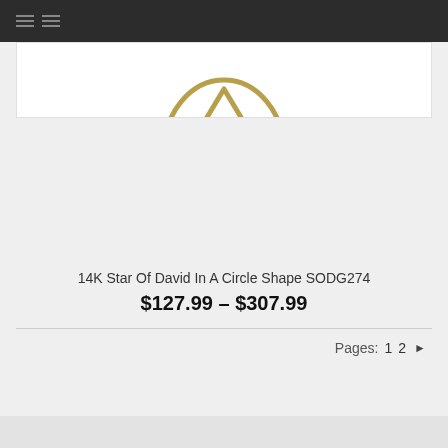Navigation menu header bar
[Figure (photo): 14K Star of David in a circle shape gold pendant jewelry product photo on white background]
14K Star Of David In A Circle Shape SODG274
$127.99 – $307.99
Pages: 1 2 ▶